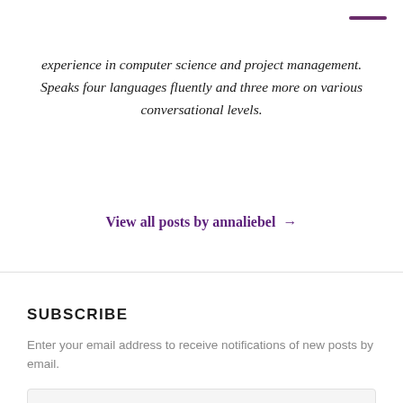experience in computer science and project management. Speaks four languages fluently and three more on various conversational levels.
View all posts by annaliebel →
SUBSCRIBE
Enter your email address to receive notifications of new posts by email.